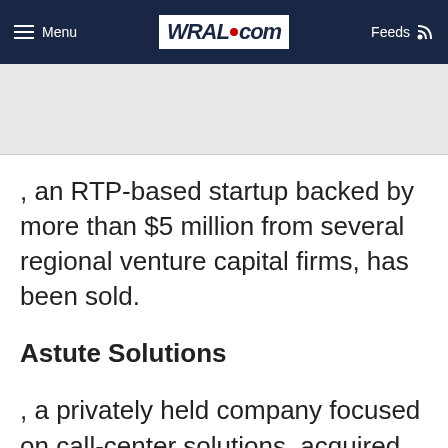Menu | WRAL.com | Feeds
, an RTP-based startup backed by more than $5 million from several regional venture capital firms, has been sold.
Astute Solutions
, a privately held company focused on call-center solutions, acquired LiveWire in a deal that closed late last month. The acquisition